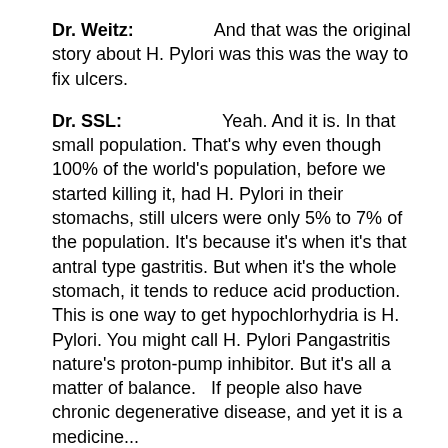Dr. Weitz: And that was the original story about H. Pylori was this was the way to fix ulcers.
Dr. SSL: Yeah. And it is. In that small population. That's why even though 100% of the world's population, before we started killing it, had H. Pylori in their stomachs, still ulcers were only 5% to 7% of the population. It's because it's when it's that antral type gastritis. But when it's the whole stomach, it tends to reduce acid production. This is one way to get hypochlorhydria is H. Pylori. You might call H. Pylori Pangastritis nature's proton-pump inhibitor. But it's all a matter of balance.   If people also have chronic degenerative disease, and yet it is a medicine...